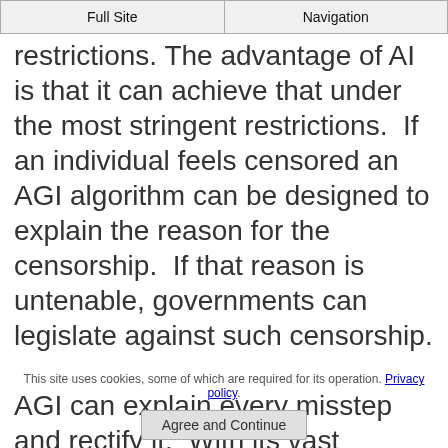Full Site | Navigation
restrictions. The advantage of AI is that it can achieve that under the most stringent restrictions.  If an individual feels censored an AGI algorithm can be designed to explain the reason for the censorship.  If that reason is untenable, governments can legislate against such censorship.

AGI can explain every misstep and rectify it.  With its vast transaction capacity, millions of individual objections to AGI behavior can be dealt with transparently.  The media behemoths
This site uses cookies, some of which are required for its operation. Privacy policy.
Agree and Continue